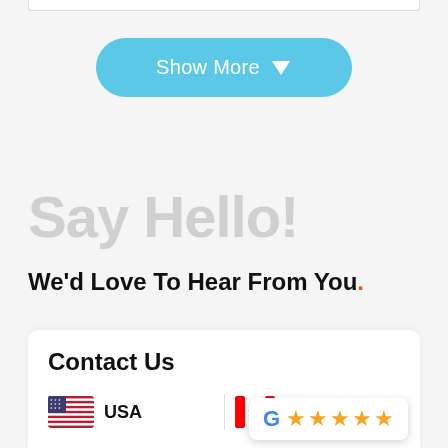[Figure (screenshot): Show More button with sky-blue rounded pill shape and white text with down arrow]
Say Hello!
We'd Love To Hear From You.
Contact Us
[Figure (infographic): US flag icon with label USA, Canadian flag icon with label C (Canada), Google 5-star rating badge]